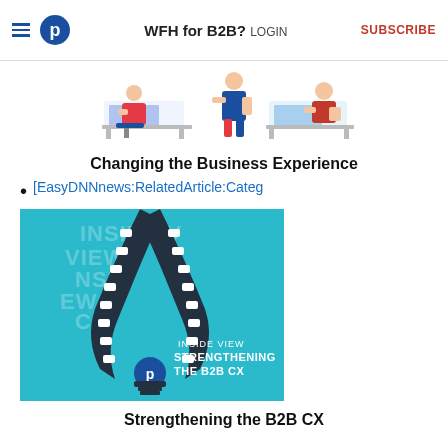WFH for B2B? LOGIN   SUBSCRIBE
[Figure (illustration): Illustration of people working from home at desks with computers]
Changing the Business Experience
[EasyDNNnews:RelatedArticle:Categ...
[Figure (illustration): Inside View: Strengthening the B2B CX - zipper graphic on teal background with logo]
Strengthening the B2B CX